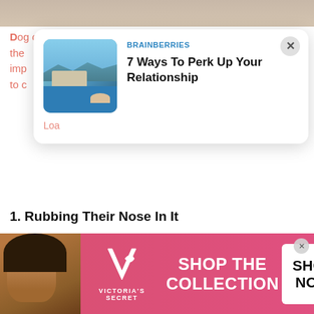[Figure (screenshot): Top portion of a webpage showing a dog article with a Brainberries ad overlay card titled '7 Ways To Perk Up Your Relationship' with a house/pool thumbnail image, and a Victoria's Secret banner ad at the bottom.]
Dog owners usually make one of these 5 mistakes because the... imp... r to c... p.
[Figure (other): Brainberries sponsored content card overlay with thumbnail image of a luxury house with infinity pool, source label BRAINBERRIES, and headline '7 Ways To Perk Up Your Relationship']
1. Rubbing Their Nose In It
Think about it, you use the bathroom during the 6 – 10 hours that you are at work, right? Chances are your dog also has to go during that time, and sometimes he or she may not be able to hold it. Once a dog is potty trained, accidents in the house can be a sign of distress, physical illness, or simply
[Figure (other): Victoria's Secret banner advertisement with pink background, VS logo, text 'SHOP THE COLLECTION' and a 'SHOP NOW' white button, with a model photo on the left.]